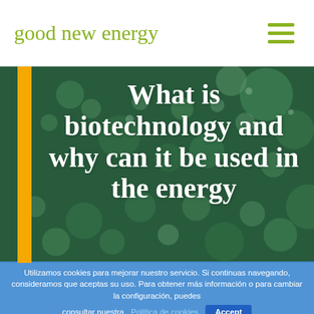good new energy
[Figure (photo): Close-up macro photograph of green plant buds or algae spheres with bokeh teal/green background, used as hero banner image. Yellow vertical bar on left side. Large white bold text overlaid: 'What is biotechnology and why can it be used in the energy']
What is biotechnology and why can it be used in the energy
Utilizamos cookies para mejorar nuestro servicio. Si continuas navegando, consideramos que aceptas su uso. Para obtener más información o para cambiar la configuración, puedes consultar nuestra Política de cookies
Accept